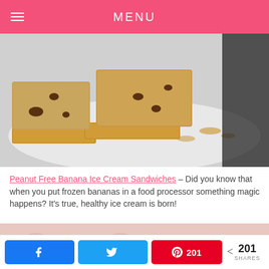MENU
[Figure (photo): Close-up photo of peanut butter banana ice cream sandwiches on graham crackers on a white plate]
Peanut Free Banana Ice Cream Sandwiches – Did you know that when you put frozen bananas in a food processor something magic happens?  It's true, healthy ice cream is born!
[Figure (photo): A hand holding a pink/mauve colored popsicle or ice cream bar against a light pink background with white horse silhouette pattern]
k  t  201  < 201 SHARES